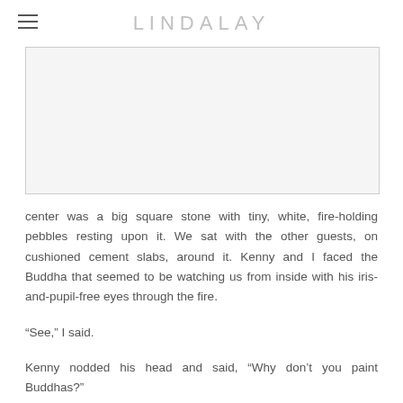LINDALAY
[Figure (photo): Photograph placeholder — white/light grey rectangle with border]
center was a big square stone with tiny, white, fire-holding pebbles resting upon it. We sat with the other guests, on cushioned cement slabs, around it. Kenny and I faced the Buddha that seemed to be watching us from inside with his iris-and-pupil-free eyes through the fire.
“See,” I said.
Kenny nodded his head and said, “Why don’t you paint Buddhas?”
“Who doesn’t paint Buddhas? I would be painting...